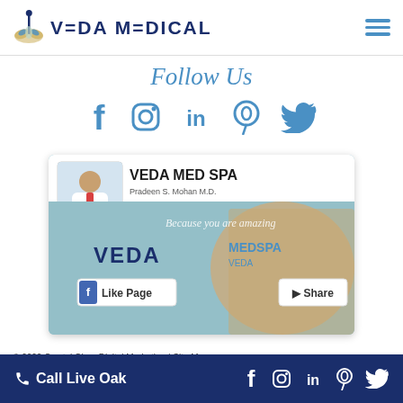VEDA MEDICAL
Follow Us
[Figure (infographic): Social media icons row: Facebook (f), Instagram, LinkedIn (in), Pinterest, Twitter (bird) in light blue]
[Figure (screenshot): Facebook page preview for VEDA MED SPA showing profile photo of doctor, page banner with woman and 'Because you are amazing' text, VEDA MEDSPA logo, Like Page and Share buttons, Pradeen S. Mohan M.D.]
© 2022 Crystal Clear Digital Marketing | Site Ma...
Call Live Oak  [social icons: Facebook, Instagram, LinkedIn, Pinterest, Twitter]